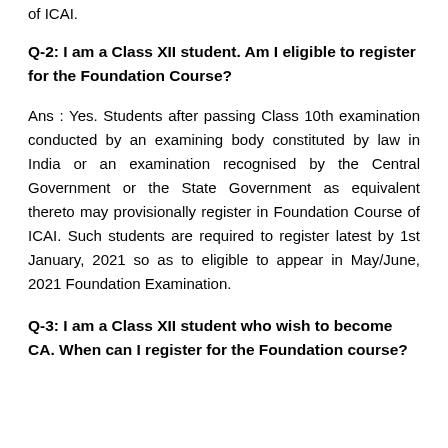of ICAI.
Q-2: I am a Class XII student. Am I eligible to register for the Foundation Course?
Ans : Yes. Students after passing Class 10th examination conducted by an examining body constituted by law in India or an examination recognised by the Central Government or the State Government as equivalent thereto may provisionally register in Foundation Course of ICAI. Such students are required to register latest by 1st January, 2021 so as to eligible to appear in May/June, 2021 Foundation Examination.
Q-3: I am a Class XII student who wish to become CA. When can I register for the Foundation course?